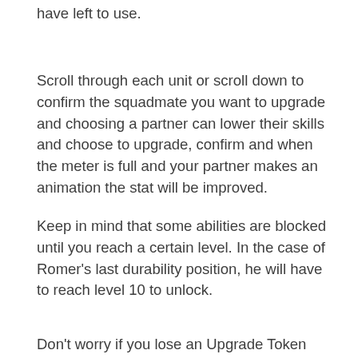have left to use.
Scroll through each unit or scroll down to confirm the squadmate you want to upgrade and choosing a partner can lower their skills and choose to upgrade, confirm and when the meter is full and your partner makes an animation the stat will be improved.
Keep in mind that some abilities are blocked until you reach a certain level. In the case of Romer's last durability position, he will have to reach level 10 to unlock.
Don't worry if you lose an Upgrade Token